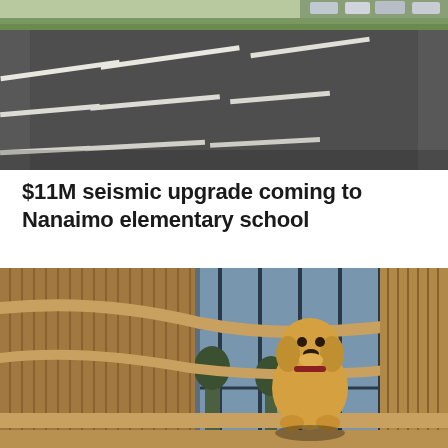[Figure (photo): Aerial or close-up view of an asphalt road with white lane markings, with parked cars and greenery visible in the background]
$11M seismic upgrade coming to Nanaimo elementary school
[Figure (photo): A yellow Labrador dog sitting on wooden stairs with curved wooden railings, large windows with trees visible in the background]